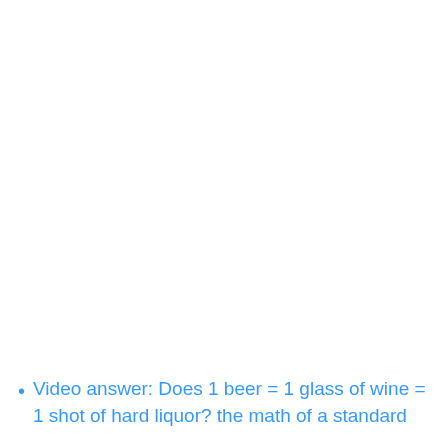Video answer: Does 1 beer = 1 glass of wine = 1 shot of hard liquor? the math of a standard